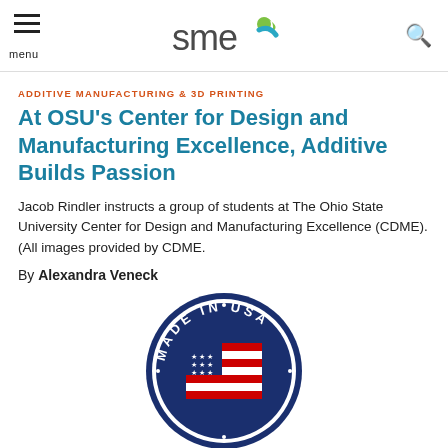SME logo, menu, search
ADDITIVE MANUFACTURING & 3D PRINTING
At OSU's Center for Design and Manufacturing Excellence, Additive Builds Passion
Jacob Rindler instructs a group of students at The Ohio State University Center for Design and Manufacturing Excellence (CDME). (All images provided by CDME.
By Alexandra Veneck
[Figure (logo): Made in USA circular badge with American flag design]